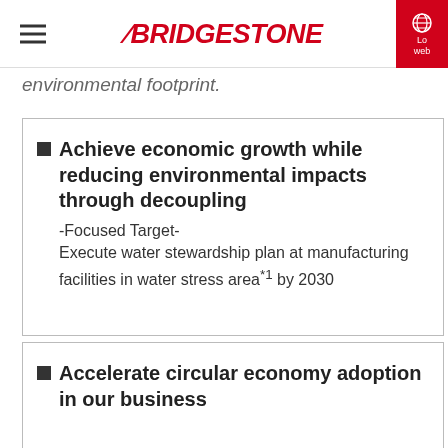BRIDGESTONE
environmental footprint.
Achieve economic growth while reducing environmental impacts through decoupling -Focused Target- Execute water stewardship plan at manufacturing facilities in water stress area*1 by 2030
Accelerate circular economy adoption in our business